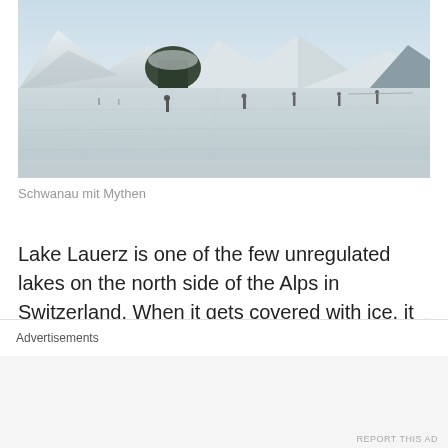[Figure (photo): Frozen Lake Lauerz in winter with people walking on the ice, snowy mountains and trees in the background. Caption: Schwanau mit Mythen.]
Schwanau mit Mythen
Lake Lauerz is one of the few unregulated lakes on the north side of the Alps in Switzerland. When it gets covered with ice, it still might be dangerous as natural gas could weaken the ice. The island has a castle on it which has been built around the year 1200 and was destroyed
Advertisements
REPORT THIS AD